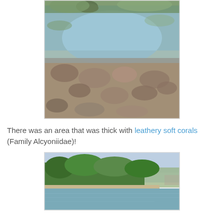[Figure (photo): Aerial/close-up view of a shallow rocky tidal pool with clear blue-green water and visible stones and algae on the bottom.]
There was an area that was thick with leathery soft corals (Family Alcyoniidae)!
[Figure (photo): Coastal scene showing a calm bay or inlet with lush green forested hills in the background and a sandy shoreline.]